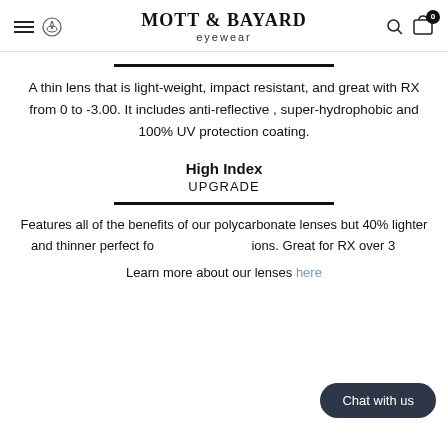MOTT & BAYARD eyewear
A thin lens that is light-weight, impact resistant, and great with RX from 0 to -3.00. It includes anti-reflective , super-hydrophobic and 100% UV protection coating.
High Index
UPGRADE
Features all of the benefits of our polycarbonate lenses but 40% lighter and thinner perfect fo tions. Great for RX over 3
Learn more about our lenses here